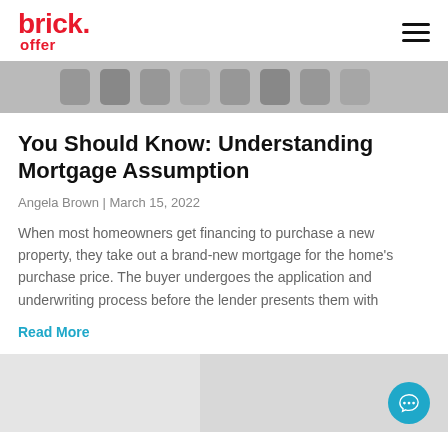brick. offer
[Figure (photo): Partial view of a black and white photo, appears to show keys or similar objects in a row]
You Should Know: Understanding Mortgage Assumption
Angela Brown | March 15, 2022
When most homeowners get financing to purchase a new property, they take out a brand-new mortgage for the home's purchase price. The buyer undergoes the application and underwriting process before the lender presents them with
Read More
[Figure (photo): Partial view of a light-colored interior room, possibly showing walls or furniture in gray/white tones]